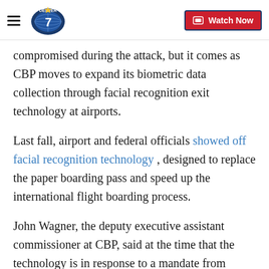Denver7 | Watch Now
compromised during the attack, but it comes as CBP moves to expand its biometric data collection through facial recognition exit technology at airports.
Last fall, airport and federal officials showed off facial recognition technology , designed to replace the paper boarding pass and speed up the international flight boarding process.
John Wagner, the deputy executive assistant commissioner at CBP, said at the time that the technology is in response to a mandate from Congress that the Department of Homeland Security develop a system for tracking foreigners' arrivals and departures from the United States.